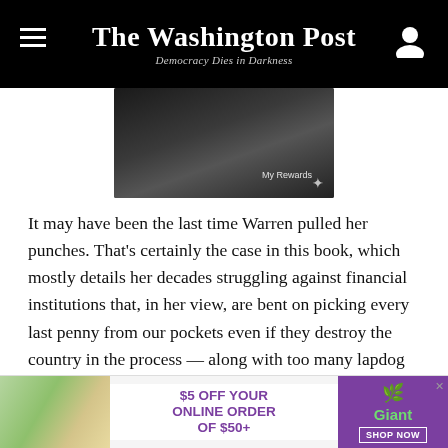The Washington Post — Democracy Dies in Darkness
[Figure (photo): Dark background photo of a phone screen showing 'My Rewards' interface]
It may have been the last time Warren pulled her punches. That's certainly the case in this book, which mostly details her decades struggling against financial institutions that, in her view, are bent on picking every last penny from our pockets even if they destroy the country in the process — along with too many lapdog lawmakers who abet their actions. As such, it is a political narrative first and an autobiography second. Yes, it tells
[Figure (other): Giant grocery advertisement: $5 OFF YOUR ONLINE ORDER OF $50+ SHOP NOW]